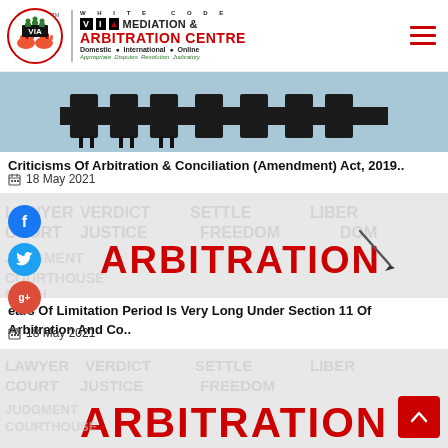[Figure (logo): White Code VIA Mediation & Arbitration Centre logo with circular emblem showing handshake, vertical divider, brand name, and tagline]
[Figure (photo): Blue-tinted image of a conference room with chairs, representing arbitration/meeting room]
Criticisms Of Arbitration & Conciliation (Amendment) Act, 2019..
18 May 2021
[Figure (photo): Image showing the word ARBITRATION in red on a legal-text background with a hand holding a pen]
ears Of Limitation Period Is Very Long Under Section 11 Of Arbitration And Co..
18 May 2021
[Figure (photo): Second image showing the word ARBITRATION in red on a legal-text background, similar to above]